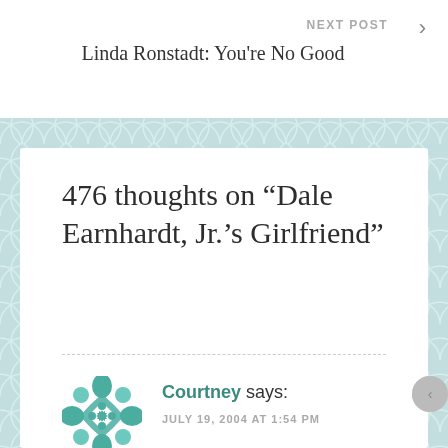NEXT POST — Linda Ronstadt: You're No Good
476 thoughts on “Dale Earnhardt, Jr.’s Girlfriend”
Courtney says: JULY 19, 2004 AT 1:54 PM
Privacy & Cookies: This site uses cookies. By continuing to use this website, you agree to their use.
To find out more, including how to control cookies, see here: Cookie Policy
Close and accept